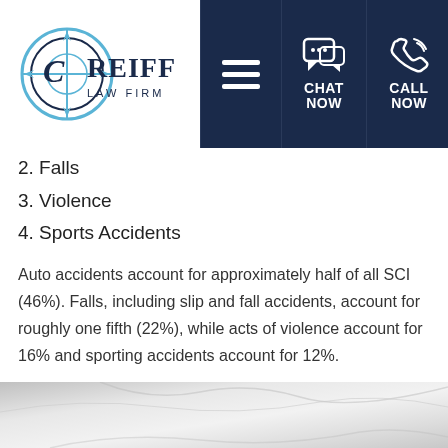[Figure (logo): Reiff Law Firm logo with compass/circle icon and text REIFF LAW FIRM, with CHAT NOW and CALL NOW navigation icons on dark navy header bar]
2. Falls
3. Violence
4. Sports Accidents
Auto accidents account for approximately half of all SCI (46%).  Falls, including slip and fall accidents, account for roughly one fifth (22%), while acts of violence account for 16% and sporting accidents account for 12%.
[Figure (photo): Bottom portion of a photo showing what appears to be a person in white clothing or fabric, cropped at bottom of page]